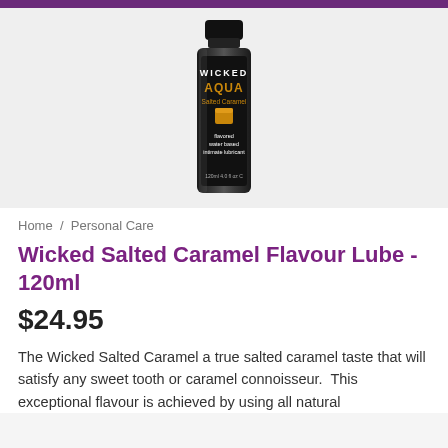[Figure (photo): Product photo of Wicked Aqua Salted Caramel flavored water based intimate lubricant bottle, 120ml, black bottle with orange/gold label text]
Home / Personal Care
Wicked Salted Caramel Flavour Lube - 120ml
$24.95
The Wicked Salted Caramel a true salted caramel taste that will satisfy any sweet tooth or caramel connoisseur.  This exceptional flavour is achieved by using all natural